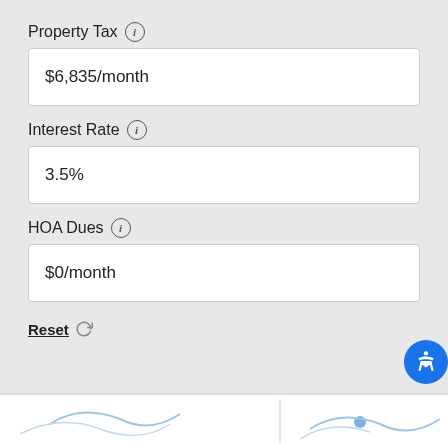Property Tax ℹ
$6,835/month
Interest Rate ℹ
3.5%
HOA Dues ℹ
$0/month
Reset ↺